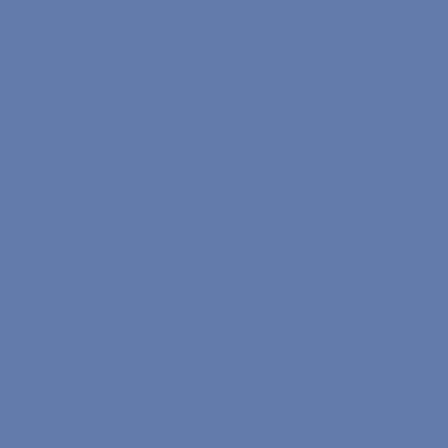You will also hear how ridiculous phobia of The Cure's Robert Smi Pandy's memory of the ending to use at all of his film pitches? Why of a horror film? And where did R as well as the results of our first h Astin v Orlando Bloom.
.: 2:20:57 :: 68.1 MB :: 05 May 2
062: The Year of the Rings conti protagonist in the spotlight: Elijah presentation, whilst Netflix hit I D championed by Pandy, and Nort famous bad reviews. Other topics programming, fake political minis via claps. Also, do The Brothers W
.: 3:14:34 :: 93.8 MB :: 31 March
061: This month, The Brothers W supporting character actor whose The Year of the Rings: Sean Bean video game adaptation Silent Hi about plague-ridden England in t necromancer with a young Eddie podcast reviews an early role in v relentlessly pursuing Harrison Fo the episode contains discussion a Ian's inability to pronounce the m Earl Jones, and Pandy's demente star Bob the Train. Choo-choo, m